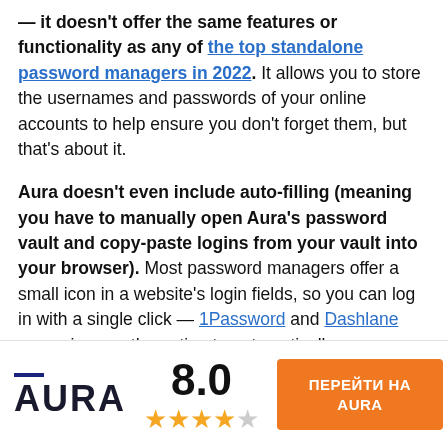— it doesn't offer the same features or functionality as any of the top standalone password managers in 2022. It allows you to store the usernames and passwords of your online accounts to help ensure you don't forget them, but that's about it.

Aura doesn't even include auto-filling (meaning you have to manually open Aura's password vault and copy-paste logins from your vault into your browser). Most password managers offer a small icon in a website's login fields, so you can log in with a single click — 1Password and Dashlane even give you the option to automatically